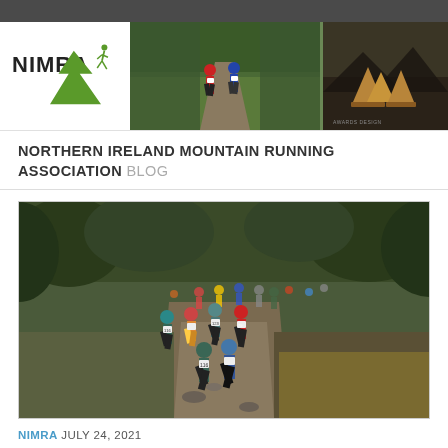[Figure (logo): NIMRA logo with green mountain silhouette and running figure]
[Figure (photo): Two runners on a forest trail path]
[Figure (photo): Wooden mountain-shaped trophies/awards against scenic backdrop]
NORTHERN IRELAND MOUNTAIN RUNNING ASSOCIATION BLOG
[Figure (photo): Large group of mountain runners racing on a rocky trail through heathland and trees]
NIMRA JULY 24, 2021